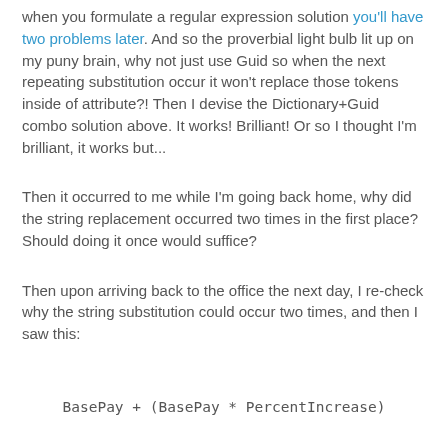when you formulate a regular expression solution you'll have two problems later. And so the proverbial light bulb lit up on my puny brain, why not just use Guid so when the next repeating substitution occur it won't replace those tokens inside of attribute?! Then I devise the Dictionary+Guid combo solution above. It works! Brilliant! Or so I thought I'm brilliant, it works but...
Then it occurred to me while I'm going back home, why did the string replacement occurred two times in the first place? Should doing it once would suffice?
Then upon arriving back to the office the next day, I re-check why the string substitution could occur two times, and then I saw this: